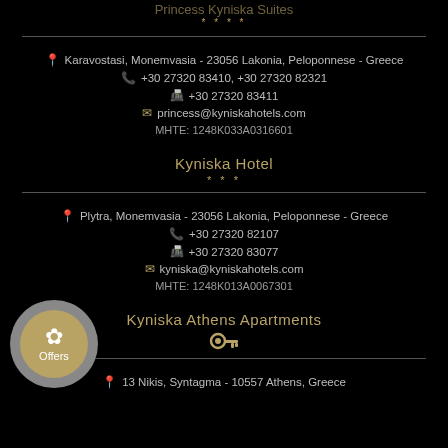Princess Kyniska Suites (partial, top)
* * * *
Karavostasi, Monemvasia - 23056 Lakonia, Peloponnese - Greece
+30 27320 83410, +30 27320 82321
+30 27320 83411
princess@kyniskahotels.com
MHTE: 1248K033A0316601
Kyniska Hotel
* * *
Plytra, Monemvasia - 23056 Lakonia, Peloponnese - Greece
+30 27320 82107
+30 27320 83077
kyniska@kyniskahotels.com
MHTE: 1248K013A0067301
Kyniska Athens Apartments
[Figure (infographic): Key icon indicating apartment/accommodation]
Offers
13 Nikis, Syntagma - 10557 Athens, Greece